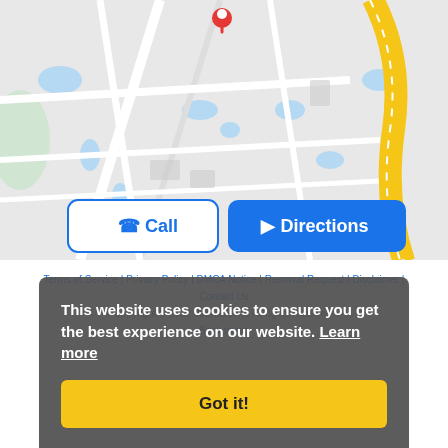[Figure (map): Google Maps screenshot showing a location pin on a street map with roads, water bodies, and a yellow highway. Two buttons overlaid: 'Call' (white with phone icon) and 'Directions' (blue with navigation icon).]
Terms of Service | Privacy Policy | DMCA Notice | Removal Request | Disclaimer | Contact Us
Copyright © 2022 Jaswal.com. All rights reserved.
Back to top
This website uses cookies to ensure you get the best experience on our website. Learn more
Got it!